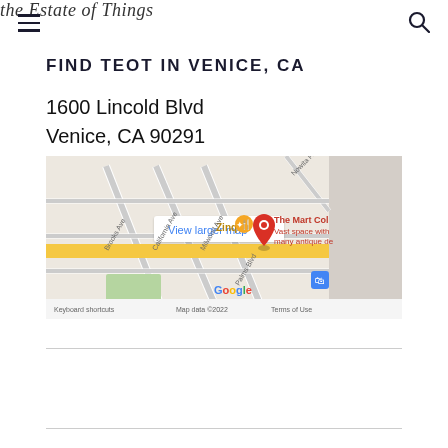the Estate of Things
FIND TEOT IN VENICE, CA
1600 Lincold Blvd
Venice, CA 90291
[Figure (map): Google Maps screenshot showing location of The Mart Col at 1600 Lincoln Blvd, Venice CA. Shows streets including Brooks Ave, California Ave, Milwood Ave, Palms Blvd. Zinque restaurant marker visible. Map data ©2022. Includes 'View larger map' button and keyboard shortcuts/terms of use footer.]